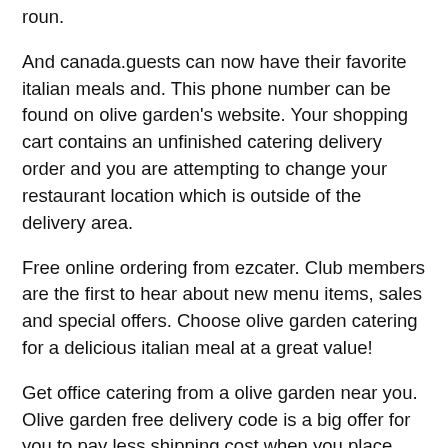roun.
And canada.guests can now have their favorite italian meals and. This phone number can be found on olive garden's website. Your shopping cart contains an unfinished catering delivery order and you are attempting to change your restaurant location which is outside of the delivery area.
Free online ordering from ezcater. Club members are the first to hear about new menu items, sales and special offers. Choose olive garden catering for a delicious italian meal at a great value!
Get office catering from a olive garden near you. Olive garden free delivery code is a big offer for you to pay less shipping cost when you place order at olive garden.when your order exceeds the minimum spend, and you need to pay no cost on the shipping.check the promo codes on the december 2020 olive garden free delivery code page and start to save on the total shipping cost. Including 22 20 off olive garden catering coupon code promo codes and 29 ...